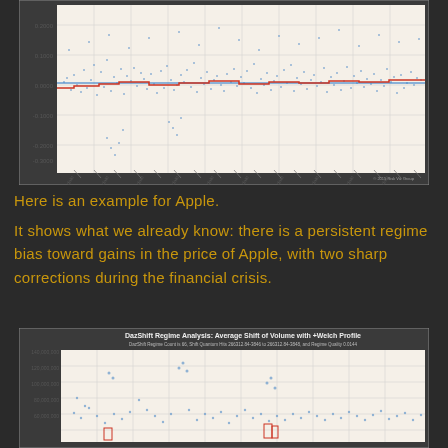[Figure (continuous-plot): DazShift Regime Analysis scatter plot showing price return data points (blue) with a step-function regime line (red/orange) near zero. Y-axis ranges from approximately -0.4 to 0.2. Dense scatter of points mostly between -0.1 and 0.1 with red step line showing regime shifts.]
Here is an example for Apple.
It shows what we already know: there is a persistent regime bias toward gains in the price of Apple, with two sharp corrections during the financial crisis.
[Figure (continuous-plot): DazShift Regime Analysis: Average Shift of Volume with +Welch Profile. DazShift Regime Count is 66, Shift Quantum Hits 266312.84-3846 to 266312.84-3848, and Regime Quality 0.0144. Scatter plot showing volume data with y-axis values from about 60,000,000 to 140,000,000.]